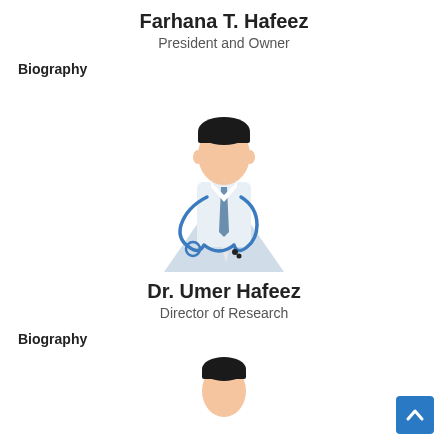Farhana T. Hafeez
President and Owner
Biography
[Figure (illustration): Illustration of a male doctor in white coat with stethoscope]
Dr. Umer Hafeez
Director of Research
Biography
[Figure (illustration): Partial illustration of a person, cropped at bottom of page]
[Figure (other): Back to top button - blue square with upward chevron arrow]